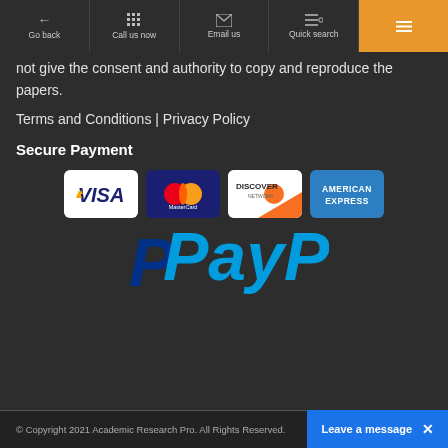Go back | Call us now | Email us | Quick search | (menu)
not give the consent and authority to copy and reproduce the papers.
Terms and Conditions | Privacy Policy
Secure Payment
[Figure (logo): Payment method logos: VISA, MasterCard, Discover Network, American Express, and PayPal]
© Copyright 2021 Academic Research Pro. All Rights Reserved.